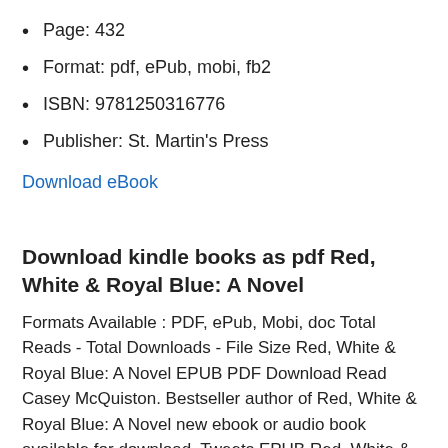Page: 432
Format: pdf, ePub, mobi, fb2
ISBN: 9781250316776
Publisher: St. Martin's Press
Download eBook
Download kindle books as pdf Red, White & Royal Blue: A Novel
Formats Available : PDF, ePub, Mobi, doc Total Reads - Total Downloads - File Size Red, White & Royal Blue: A Novel EPUB PDF Download Read Casey McQuiston. Bestseller author of Red, White & Royal Blue: A Novel new ebook or audio book available for download. Tweets EPUB Red, White & Royal Blue: A Novel By